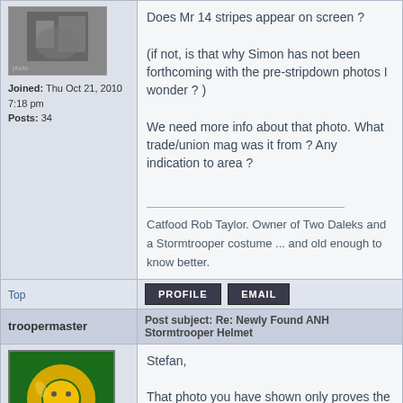[Figure (photo): Black and white photo in left column (avatar area)]
Joined: Thu Oct 21, 2010 7:18 pm
Posts: 34
Does Mr 14 stripes appear on screen ?

(if not, is that why Simon has not been forthcoming with the pre-stripdown photos I wonder ? )

We need more info about that photo. What trade/union mag was it from ? Any indication to area ?

___________________
Catfood Rob Taylor. Owner of Two Daleks and a Stormtrooper costume ... and old enough to know better.
Top
PROFILE   EMAIL
troopermaster
Post subject: Re: Newly Found ANH Stormtrooper Helmet
[Figure (illustration): No Avatar image - cartoon character in green circle]
Stefan,

That photo you have shown only proves the b
[Figure (photo): Partial photo at bottom right]